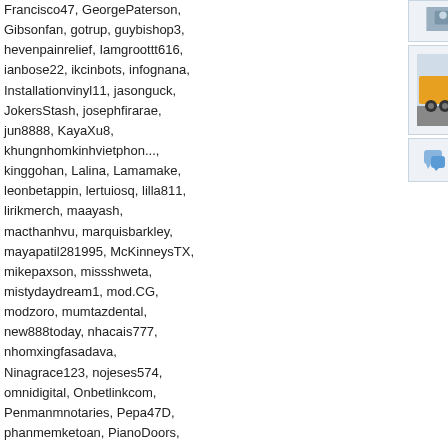Francisco47, GeorgePaterson, Gibsonfan, gotrup, guybishop3, hevenpainrelief, Iamgroottt616, ianbose22, ikcinbots, infognana, Installationvinyl11, jasonguck, JokersStash, josephfirarae, jun8888, KayaXu8, khungnhomkinhvietphon..., kinggohan, Lalina, Lamamake, leonbetappin, lertuiosq, lilla811, lirikmerch, maayash, macthanhvu, marquisbarkley, mayapatil281995, McKinneysTX, mikepaxson, missshweta, mistydaydream1, mod.CG, modzoro, mumtazdental, new888today, nhacais777, nhomxingfasadava, Ninagrace123, nojeses574, omnidigital, Onbetlinkcom, Penmanmnotaries, Pepa47D, phanmemketoan, PianoDoors, prestam1os, PsyBlade, qckntxhitnhed, SabineBrown, SalasloveStore, Samlokiy, sarmsvssteroids, Shakhawat101, Sharktankketogummiesu..., Shonu12aug, socialbacklink1, sonygatla, steverogers9005, susiestravelweb, SwastikPackersinMumba..., taigamekingfunus, texasnurselawyers, theglobalcitysvn24, theparkavenuecity, ThorsenBryan99, tiptopumzug, top10vietnamta, topd026, trainwellnessbike, Tropics777
[Figure (photo): Post by Trackerandy with orange truck image]
Posted by Trackerandy on 09/01/19 at 0...
Wonderful
View All Co...